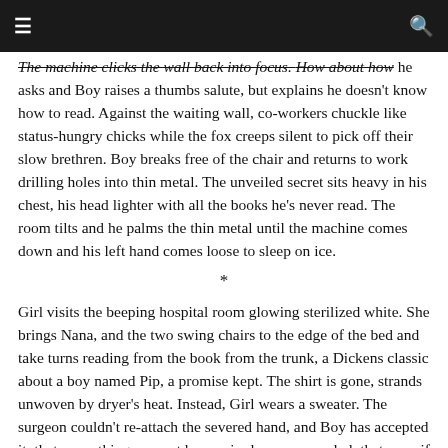≡  🔍
The machine clicks the wall back into focus. How about how he asks and Boy raises a thumbs salute, but explains he doesn't know how to read. Against the waiting wall, co-workers chuckle like status-hungry chicks while the fox creeps silent to pick off their slow brethren. Boy breaks free of the chair and returns to work drilling holes into thin metal. The unveiled secret sits heavy in his chest, his head lighter with all the books he's never read. The room tilts and he palms the thin metal until the machine comes down and his left hand comes loose to sleep on ice.
*
Girl visits the beeping hospital room glowing sterilized white. She brings Nana, and the two swing chairs to the edge of the bed and take turns reading from the book from the trunk, a Dickens classic about a boy named Pip, a promise kept. The shirt is gone, strands unwoven by dryer's heat. Instead, Girl wears a sweater. The surgeon couldn't re-attach the severed hand, and Boy has accepted it, that some things cannot be repaired once unraveled, that even if they could, he'd only be living a lie told through pain,